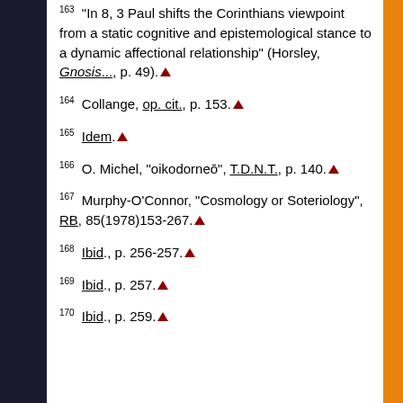163 "In 8, 3 Paul shifts the Corinthians viewpoint from a static cognitive and epistemological stance to a dynamic affectional relationship" (Horsley, Gnosis..., p. 49).
164 Collange, op. cit., p. 153.
165 Idem.
166 O. Michel, "oikodorneō", T.D.N.T., p. 140.
167 Murphy-O'Connor, "Cosmology or Soteriology", RB, 85(1978)153-267.
168 Ibid., p. 256-257.
169 Ibid., p. 257.
170 Ibid., p. 259.